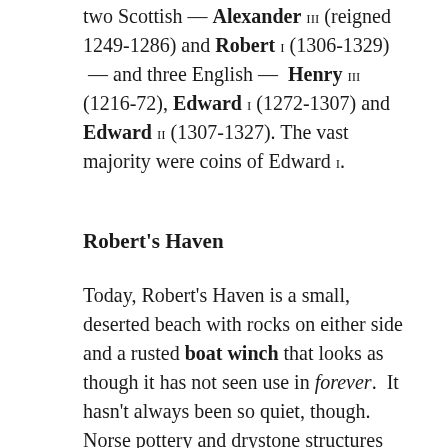two Scottish — Alexander III (reigned 1249-1286) and Robert I (1306-1329) — and three English — Henry III (1216-72), Edward I (1272-1307) and Edward II (1307-1327). The vast majority were coins of Edward I.
Robert's Haven
Today, Robert's Haven is a small, deserted beach with rocks on either side and a rusted boat winch that looks as though it has not seen use in forever. It hasn't always been so quiet, though. Norse pottery and drystone structures were discovered there in the 1970s and early 80s, along with midden deposits and an anvil stone and a stone polisher. Together, these